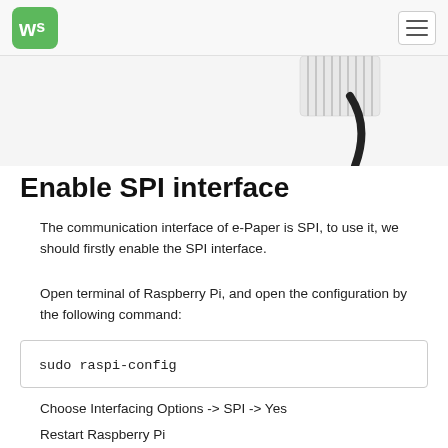WS logo and navigation
[Figure (photo): Partial photo of a flat ribbon cable and black wire, cropped at top of page]
Enable SPI interface
The communication interface of e-Paper is SPI, to use it, we should firstly enable the SPI interface.
Open terminal of Raspberry Pi, and open the configuration by the following command:
Choose Interfacing Options -> SPI -> Yes
Restart Raspberry Pi